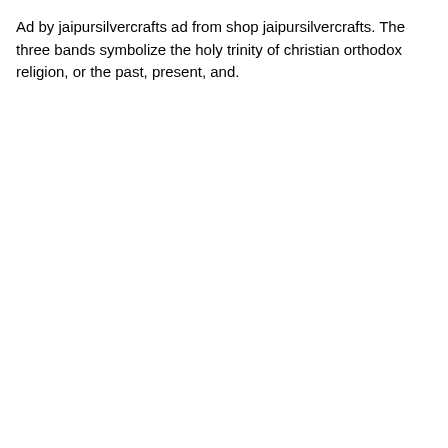Ad by jaipursilvercrafts ad from shop jaipursilvercrafts. The three bands symbolize the holy trinity of christian orthodox religion, or the past, present, and.